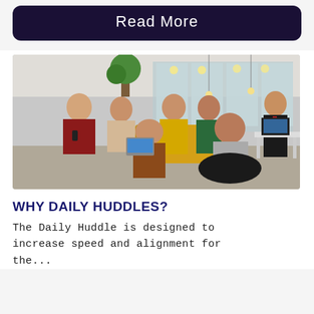Read More
[Figure (photo): Group of people having a meeting/huddle in a modern office space, sitting in a circle on sofas and chairs, some with laptops and phones.]
WHY DAILY HUDDLES?
The Daily Huddle is designed to increase speed and alignment for the...